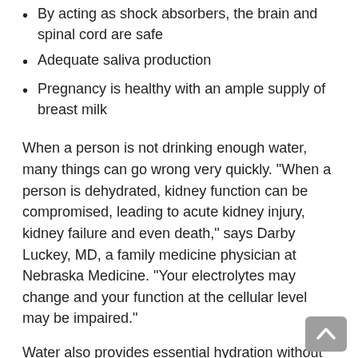By acting as shock absorbers, the brain and spinal cord are safe
Adequate saliva production
Pregnancy is healthy with an ample supply of breast milk
When a person is not drinking enough water, many things can go wrong very quickly. “When a person is dehydrated, kidney function can be compromised, leading to acute kidney injury, kidney failure and even death,” says Darby Luckey, MD, a family medicine physician at Nebraska Medicine. “Your electrolytes may change and your function at the cellular level may be impaired.”
Water also provides essential hydration without adding extra calories. Unsweetened tea or coffee may be low in calories, but it has a diuretic effect that flushes fluids out of the body.
How much water should a person